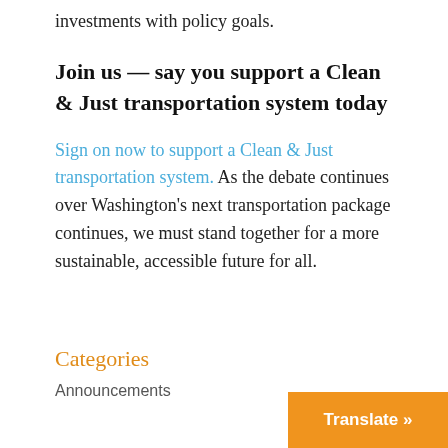investments with policy goals.
Join us — say you support a Clean & Just transportation system today
Sign on now to support a Clean & Just transportation system. As the debate continues over Washington's next transportation package continues, we must stand together for a more sustainable, accessible future for all.
Categories
Announcements